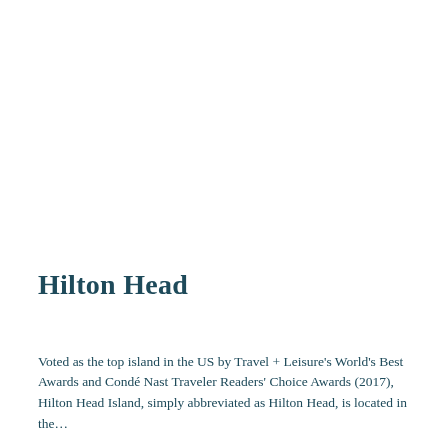Hilton Head
Voted as the top island in the US by Travel + Leisure's World's Best Awards and Condé Nast Traveler Readers' Choice Awards (2017), Hilton Head Island, simply abbreviated as Hilton Head, is located in the…